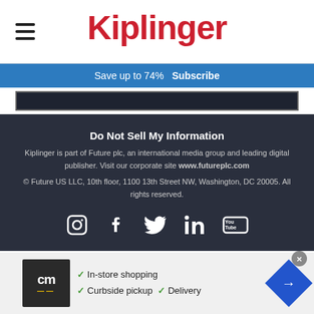Kiplinger
Save up to 74%  Subscribe
Do Not Sell My Information
Kiplinger is part of Future plc, an international media group and leading digital publisher. Visit our corporate site www.futureplc.com
© Future US LLC, 10th floor, 1100 13th Street NW, Washington, DC 20005. All rights reserved.
[Figure (infographic): Social media icons: Instagram, Facebook, Twitter, LinkedIn, YouTube in white on dark background]
[Figure (infographic): Advertisement banner: CM logo, checkmarks for In-store shopping, Curbside pickup, Delivery, with blue diamond arrow icon]